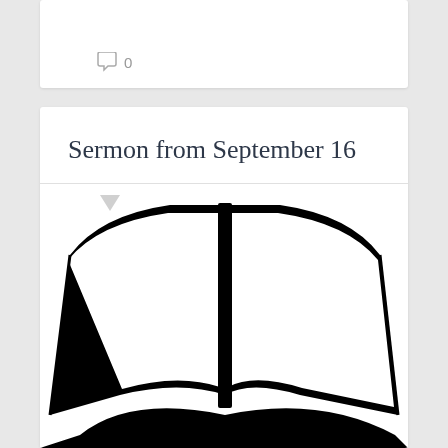0
Sermon from September 16
[Figure (illustration): Black and white illustration of an open Bible book, large stylized graphic with bold black outlines showing pages spread open]